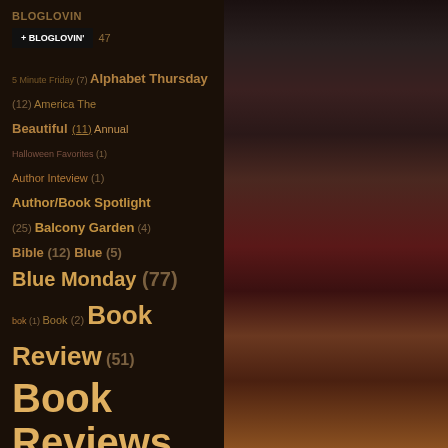BLOGLOVIN
+ BLOGLOVIN' 47
5 Minute Friday (7) Alphabet Thursday (12) America The Beautiful (11) Annual Halloween Favorites (1) Author Inteview (1) Author/Book Spotlight (25) Balcony Garden (4) Bible (12) Blue (5) Blue Monday (77) bok (1) Book (2) Book Review (51) Book Reviews (210) Books (19) Camera (12) Ch (1) ChildrensBook Review (8) Christmas
[Figure (photo): Dark background photo showing decorative items including what appears to be flowers or ornaments with red and other colors, partially visible on the right half of the page]